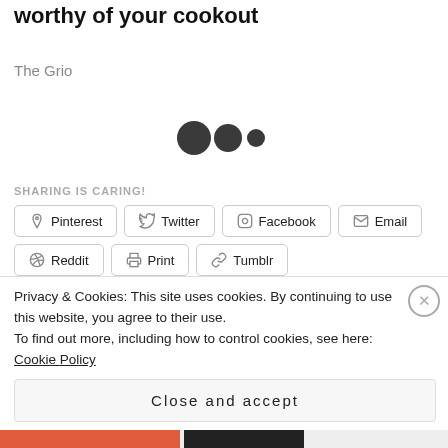The best 5-in-the-sauce: Make a BBQ sauce worthy of your cookout
The Grio
[Figure (other): Three dark dots (loading indicator or decorative dots)]
SHARING IS CARING!
Pinterest  Twitter  Facebook  Email  Reddit  Print  Tumblr
[Figure (other): Like button with star icon followed by a row of blogger avatar thumbnails]
15 bloggers like this.
Privacy & Cookies: This site uses cookies. By continuing to use this website, you agree to their use.
To find out more, including how to control cookies, see here: Cookie Policy
Close and accept